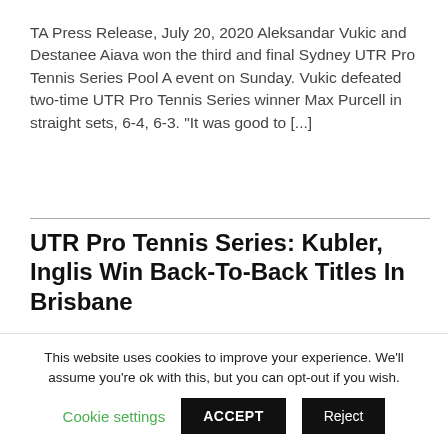TA Press Release, July 20, 2020 Aleksandar Vukic and Destanee Aiava won the third and final Sydney UTR Pro Tennis Series Pool A event on Sunday. Vukic defeated two-time UTR Pro Tennis Series winner Max Purcell in straight sets, 6-4, 6-3. “It was good to [...]
UTR Pro Tennis Series: Kubler, Inglis Win Back-To-Back Titles In Brisbane
July 14, 2020
TA Press Release, July 14, 2020 Jason Kubler (Qld) and Maddison Inglis (WA) have claimed back-to-
This website uses cookies to improve your experience. We'll assume you're ok with this, but you can opt-out if you wish.
Cookie settings   ACCEPT   Reject